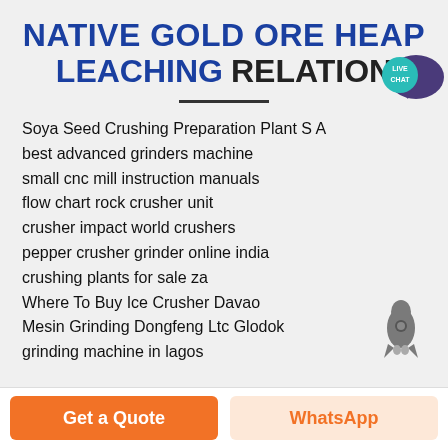NATIVE GOLD ORE HEAP LEACHING RELATION
Soya Seed Crushing Preparation Plant S A
best advanced grinders machine
small cnc mill instruction manuals
flow chart rock crusher unit
crusher impact world crushers
pepper crusher grinder online india
crushing plants for sale za
Where To Buy Ice Crusher Davao
Mesin Grinding Dongfeng Ltc Glodok
grinding machine in lagos
[Figure (logo): Live Chat speech bubble badge icon in teal/purple]
[Figure (illustration): Grey rocket ship icon]
Get a Quote
WhatsApp